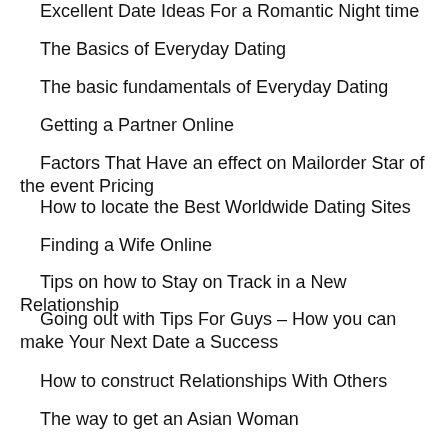Excellent Date Ideas For a Romantic Night time
The Basics of Everyday Dating
The basic fundamentals of Everyday Dating
Getting a Partner Online
Factors That Have an effect on Mailorder Star of the event Pricing
How to locate the Best Worldwide Dating Sites
Finding a Wife Online
Tips on how to Stay on Track in a New Relationship
Going out with Tips For Guys – How you can make Your Next Date a Success
How to construct Relationships With Others
The way to get an Asian Woman